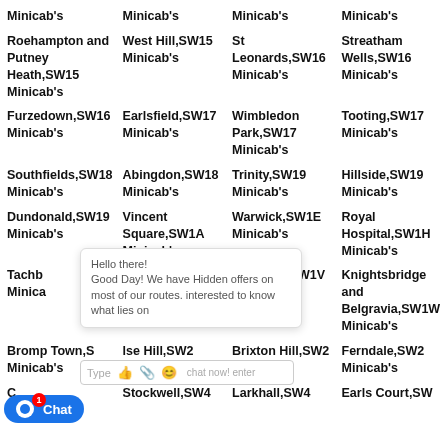Minicab's
Minicab's
Minicab's
Minicab's
Roehampton and Putney Heath,SW15 Minicab's
West Hill,SW15 Minicab's
St Leonards,SW16 Minicab's
Streatham Wells,SW16 Minicab's
Furzedown,SW16 Minicab's
Earlsfield,SW17 Minicab's
Wimbledon Park,SW17 Minicab's
Tooting,SW17 Minicab's
Southfields,SW18 Minicab's
Abingdon,SW18 Minicab's
Trinity,SW19 Minicab's
Hillside,SW19 Minicab's
Dundonald,SW19 Minicab's
Vincent Square,SW1A Minicab's
Warwick,SW1E Minicab's
Royal Hospital,SW1H Minicab's
Tachbrook Minicab's
Hammersmith Broadway,SW1P Minicab's
Churchill,SW1V Minicab's
Knightsbridge and Belgravia,SW1W Minicab's
Brompton Town,SW Minicab's
Tulse Hill,SW2 Minicab's
Brixton Hill,SW2 Minicab's
Ferndale,SW2 Minicab's
Clapham Town,SW3
Stockwell,SW4
Larkhall,SW4
Earls Court,SW